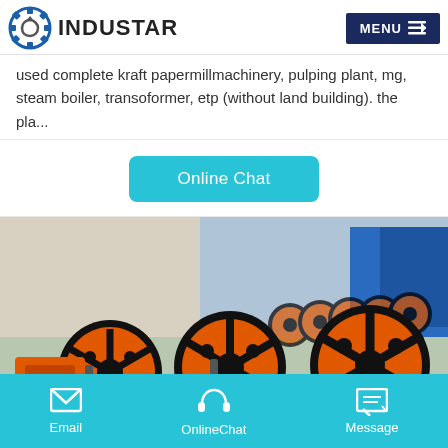INDUSTAR
used complete kraft papermillmachinery, pulping plant, mg, steam boiler, transoformer, etp (without land building). the pla...
Online Chat
[Figure (photo): Row of orange and black industrial jaw crusher flywheel assemblies lined up outdoors at a manufacturing facility]
Email   OnlineChat   Message